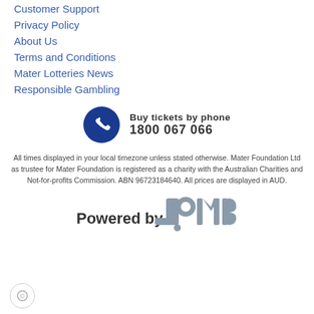Customer Support
Privacy Policy
About Us
Terms and Conditions
Mater Lotteries News
Responsible Gambling
[Figure (infographic): Blue circle with white phone handset icon]
Buy tickets by phone
1800 067 066
All times displayed in your local timezone unless stated otherwise. Mater Foundation Ltd as trustee for Mater Foundation is registered as a charity with the Australian Charities and Not-for-profits Commission. ABN 96723184640. All prices are displayed in AUD.
[Figure (logo): Powered by Jumbo logo]